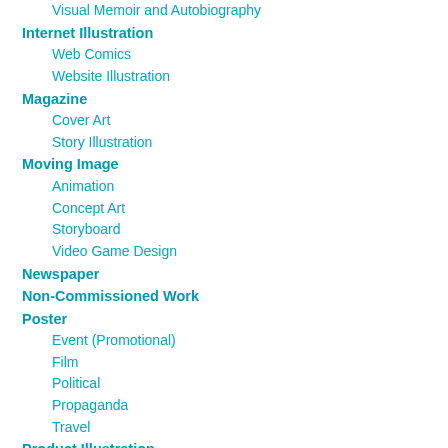Visual Memoir and Autobiography
Internet Illustration
Web Comics
Website Illustration
Magazine
Cover Art
Story Illustration
Moving Image
Animation
Concept Art
Storyboard
Video Game Design
Newspaper
Non-Commissioned Work
Poster
Event (Promotional)
Film
Political
Propaganda
Travel
Product Illustration
Album/CD
Calendars